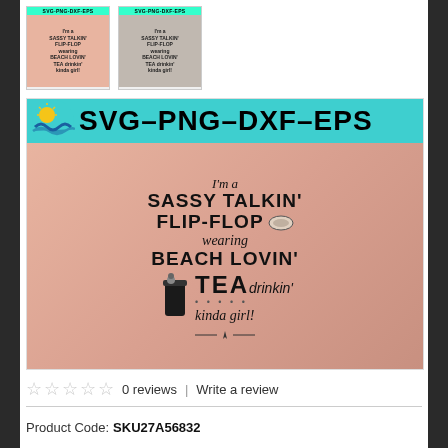[Figure (photo): Two small thumbnail images of a pink t-shirt with 'SVG-PNG-DXF-EPS' banner and text design]
[Figure (photo): Main product image: pink t-shirt with teal SVG-PNG-DXF-EPS banner at top, shirt text reads: I'm a SASSY TALKIN' FLIP-FLOP wearing BEACH LOVIN' TEA drinkin' kinda girl!]
0 reviews  |  Write a review
Product Code:  SKU27A56832